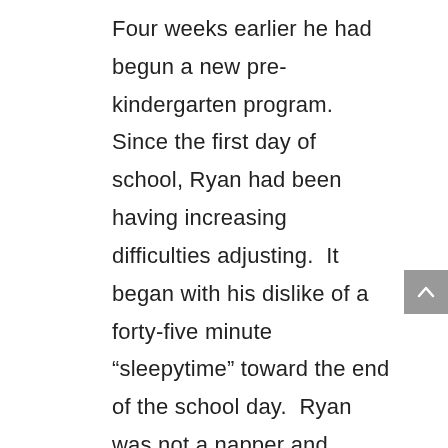Four weeks earlier he had begun a new pre-kindergarten program.  Since the first day of school, Ryan had been having increasing difficulties adjusting.  It began with his dislike of a forty-five minute “sleepytime” toward the end of the school day.  Ryan was not a napper and probably found sleepytime to be tedious and boring.  His mother attempted to solve the problem by picking him up earlier, thus avoiding sleepytime altogether.  To the parents’ dismay, his adjustment problems worsened.  At this point Ryan resisted going to school at all, wanting only to be with his mother.  Despite a prior history of positive and frequent socialization